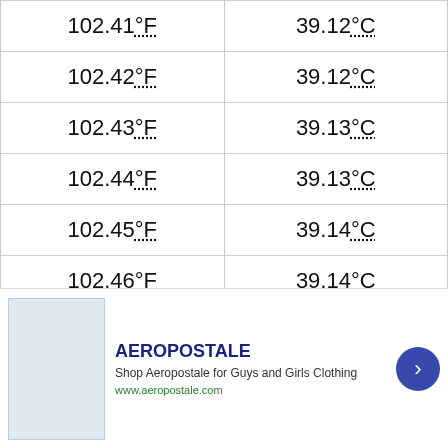| °F | °C |
| --- | --- |
| 102.41°F | 39.12°C |
| 102.42°F | 39.12°C |
| 102.43°F | 39.13°C |
| 102.44°F | 39.13°C |
| 102.45°F | 39.14°C |
| 102.46°F | 39.14°C |
| 102.47°F | 39.15°C |
| 102.48°F | 39.16°C |
| 102.49°F | 39.16°C |
[Figure (other): Advertisement overlay: Aeropostale shop ad with close button and navigation arrow]